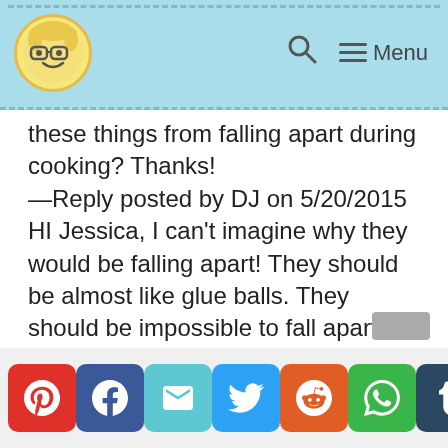Menu (blog header with logo, search, and menu)
these things from falling apart during cooking? Thanks!
—Reply posted by DJ on 5/20/2015
HI Jessica, I can't imagine why they would be falling apart! They should be almost like glue balls. They should be impossible to fall apart. It makes me think that the emulsion was broken and that perhaps your base wasn't a smooth puree. Make sure you're using cold equipment and cold ingredients next time, when you puree
[Figure (infographic): Social share buttons: Pinterest, Facebook, Email, Twitter, Reddit, WhatsApp, Tumblr]